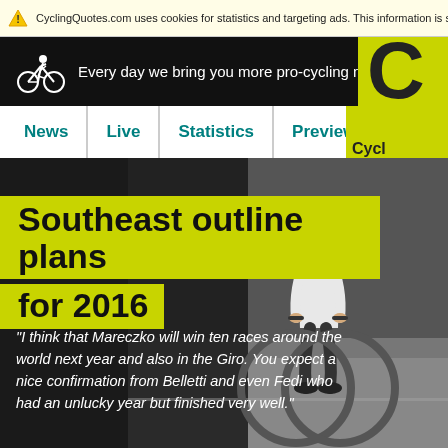CyclingQuotes.com uses cookies for statistics and targeting ads. This information is shared with
[Figure (screenshot): CyclingQuotes.com website header with cyclist logo, tagline 'Every day we bring you more pro-cycling news', navigation links News, Live, Statistics, Previews, and a yellow CyclingQuotes logo on the right]
Southeast outline plans for 2016
"I think that Mareczko will win ten races around the world next year and also in the Giro. You expect a nice confirmation from Belletti and even Fedi who had an unlucky year but finished very well."